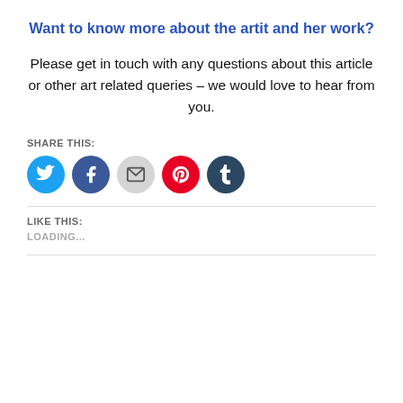Want to know more about the artit and her work?
Please get in touch with any questions about this article or other art related queries – we would love to hear from you.
SHARE THIS:
[Figure (infographic): Five social media share buttons: Twitter (blue bird), Facebook (blue f), Email (grey envelope), Pinterest (red P), Tumblr (dark blue t)]
LIKE THIS:
LOADING...